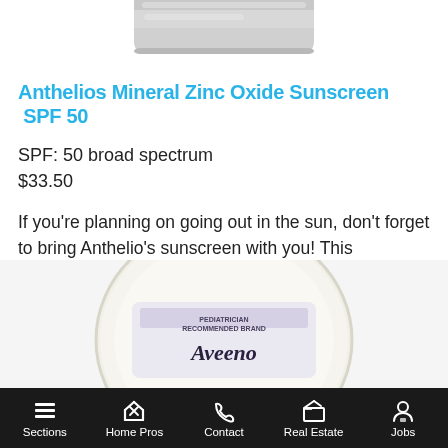[Figure (photo): Bottom portion of a sunscreen product container (cylindrical/rounded shape) against a white background]
Anthelios Mineral Zinc Oxide Sunscreen  SPF 50
SPF: 50 broad spectrum
$33.50
If you're planning on going out in the sun, don't forget to bring Anthelio's sunscreen with you! This sunscreen was made for sensitive skin, adults and kids alike. This sunscreen will protect you from the sun's UV in and out of water. It is also paraben-free, oil-free and fragrance-free to name a few benefits!
[Figure (photo): Top portion of an Aveeno product container (round/circular flat jar) with label visible reading PEDIATRICIAN RECOMMENDED BRAND and Aveeno]
Sections  Home Pros  Contact  Real Estate  Jobs